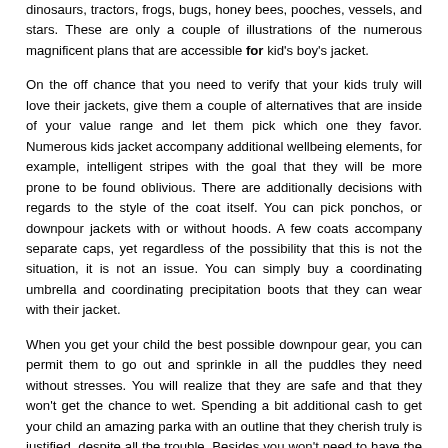dinosaurs, tractors, frogs, bugs, honey bees, pooches, vessels, and stars. These are only a couple of illustrations of the numerous magnificent plans that are accessible for kid's boy's jacket.
On the off chance that you need to verify that your kids truly will love their jackets, give them a couple of alternatives that are inside of your value range and let them pick which one they favor. Numerous kids jacket accompany additional wellbeing elements, for example, intelligent stripes with the goal that they will be more prone to be found oblivious. There are additionally decisions with regards to the style of the coat itself. You can pick ponchos, or downpour jackets with or without hoods. A few coats accompany separate caps, yet regardless of the possibility that this is not the situation, it is not an issue. You can simply buy a coordinating umbrella and coordinating precipitation boots that they can wear with their jacket.
When you get your child the best possible downpour gear, you can permit them to go out and sprinkle in all the puddles they need without stresses. You will realize that they are safe and that they won't get the chance to wet. Spending a bit additional cash to get your child an amazing parka with an outline that they cherish truly is justified, despite all the trouble. Besides you won't need to have the same number of fights with your tyke about wearing their kid's jacket on the off chance that they really like the jacket. A higher-quality jacket is additionally prone to last a top longer...